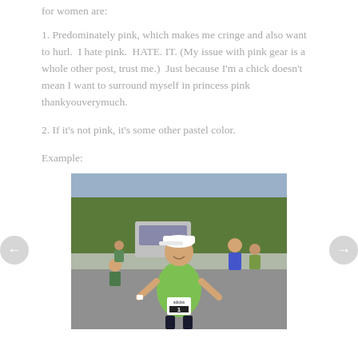for women are:
1. Predominately pink, which makes me cringe and also want to hurl.  I hate pink.  HATE. IT. (My issue with pink gear is a whole other post, trust me.)  Just because I'm a chick doesn't mean I want to surround myself in princess pink thankyouverymuch.
2. If it's not pink, it's some other pastel color.
Example:
[Figure (photo): A woman in a green running shirt and white cap standing at a race with bib number 1, trees and other runners in the background.]